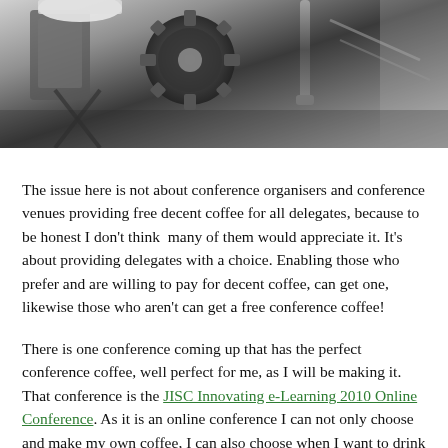[Figure (photo): Black and white close-up photo of a coffee machine with mechanical parts, gears, and a steam wand visible]
The issue here is not about conference organisers and conference venues providing free decent coffee for all delegates, because to be honest I don't think  many of them would appreciate it. It's about providing delegates with a choice. Enabling those who prefer and are willing to pay for decent coffee, can get one, likewise those who aren't can get a free conference coffee!
There is one conference coming up that has the perfect conference coffee, well perfect for me, as I will be making it. That conference is the JISC Innovating e-Learning 2010 Online Conference. As it is an online conference I can not only choose and make my own coffee, I can also choose when I want to drink it. I can drink my coffee during the keynotes, whilst in discussions, debates and in the social area.